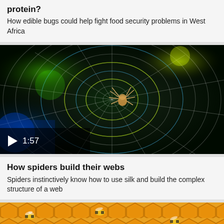protein?
How edible bugs could help fight food security problems in West Africa
[Figure (photo): Spider on a glowing web with dark green and blue background, with video play button overlay showing 1:57]
How spiders build their webs
Spiders instinctively know how to use silk and build the complex structure of a web
[Figure (photo): Close-up of honeybees on golden honeycomb, partially visible at bottom of page]